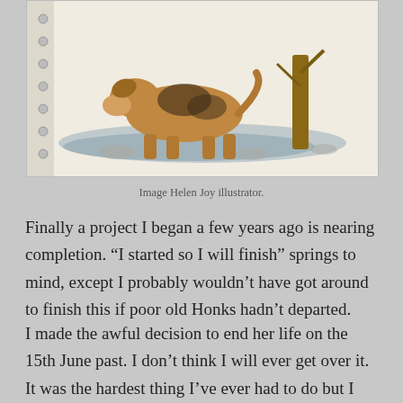[Figure (illustration): Watercolor/pencil illustration of a dog (appears to be a brown and black dog) standing near a tree, with blue and grey ground details, mounted on a spiral notebook page.]
Image Helen Joy illustrator.
Finally a project I began a few years ago is nearing completion. “I started so I will finish” springs to mind, except I probably wouldn’t have got around to finish this if poor old Honks hadn’t departed.
I made the awful decision to end her life on the 15th June past. I don’t think I will ever get over it. It was the hardest thing I’ve ever had to do but I did it for her. I don’t think a day as passed since, when a reminder hits